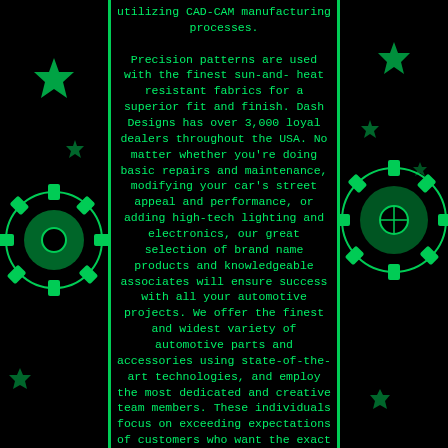utilizing CAD-CAM manufacturing processes. Precision patterns are used with the finest sun-and- heat resistant fabrics for a superior fit and finish. Dash Designs has over 3,000 loyal dealers throughout the USA. No matter whether you're doing basic repairs and maintenance, modifying your car's street appeal and performance, or adding high-tech lighting and electronics, our great selection of brand name products and knowledgeable associates will ensure success with all your automotive projects. We offer the finest and widest variety of automotive parts and accessories using state-of-the-art technologies, and employ the most dedicated and creative team members. These individuals focus on exceeding expectations of customers who want the exact component at the best price in the quickest time. Our goal is to provide a WOW experience during every customer interaction. Whatever you need, whether it's a replacement part to fix a broken down vehicle, a crash part to repair a vehicle from an accident, perhaps a new set of custom wheels and tires, or